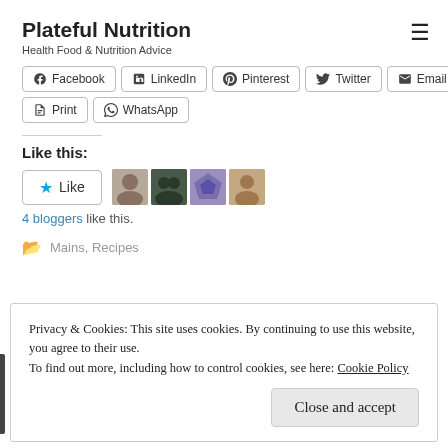Plateful Nutrition
Health Food & Nutrition Advice
Facebook | LinkedIn | Pinterest | Twitter | Email | Print | WhatsApp
Like this:
4 bloggers like this.
Mains, Recipes
Privacy & Cookies: This site uses cookies. By continuing to use this website, you agree to their use.
To find out more, including how to control cookies, see here: Cookie Policy
Close and accept